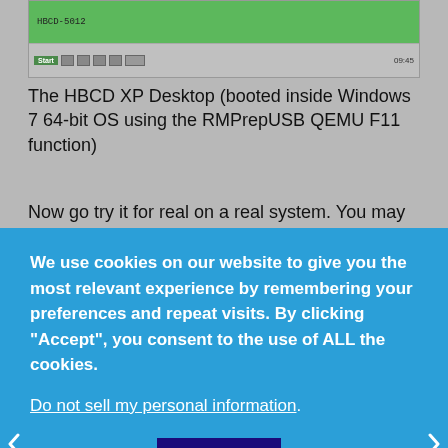[Figure (screenshot): HBCD XP Desktop screenshot showing green taskbar area and Windows XP-style taskbar at bottom with Start button, icons, and time 09:45]
The HBCD XP Desktop (booted inside Windows 7 64-bit OS using the RMPrepUSB QEMU F11 function)
Now go try it for real on a real system. You may need to
We use cookies on our website to give you the most relevant experience by remembering your preferences and repeat visits. By clicking "Accept", you consent to the use of ALL the cookies.
Do not sell my personal information.
Cookie settings   ACCEPT
USING HBCD DOS UTILITIES
If you have an NTFS USB drive, then some DOS utilities will not work because DOS cannot understand the NTFS filesystem and thus cannot see the \HBCD folder and